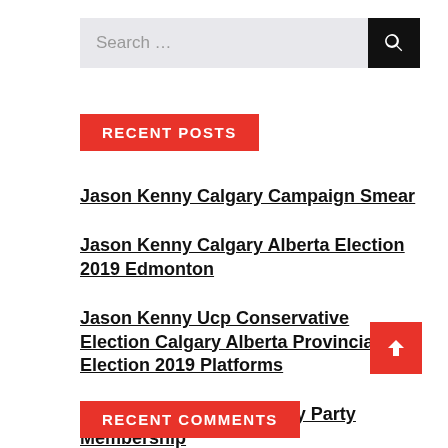Search ...
RECENT POSTS
Jason Kenny Calgary Campaign Smear
Jason Kenny Calgary Alberta Election 2019 Edmonton
Jason Kenny Ucp Conservative Election Calgary Alberta Provincial Election 2019 Platforms
Jason Kenny Calgary Tory Party Membership
Jason Kenny Ucp Conservative Election Calgary Wainwright To Lloydminster
RECENT COMMENTS